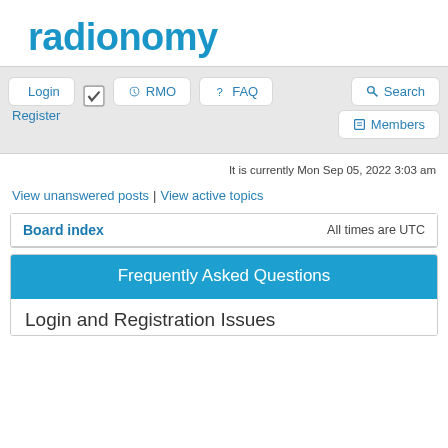[Figure (logo): Radionomy logo in blue text]
Login | Register | RMO | FAQ | Search | Members
It is currently Mon Sep 05, 2022 3:03 am
View unanswered posts | View active topics
| Board index | All times are UTC |
| --- | --- |
Frequently Asked Questions
Login and Registration Issues